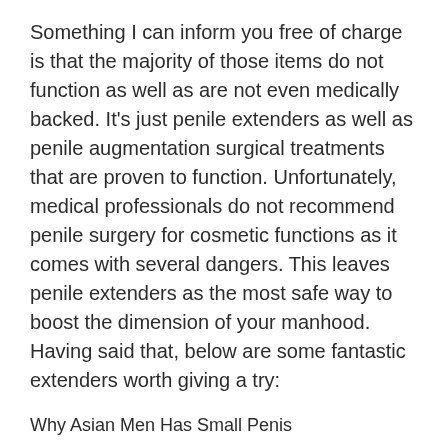Something I can inform you free of charge is that the majority of those items do not function as well as are not even medically backed. It's just penile extenders as well as penile augmentation surgical treatments that are proven to function. Unfortunately, medical professionals do not recommend penile surgery for cosmetic functions as it comes with several dangers. This leaves penile extenders as the most safe way to boost the dimension of your manhood. Having said that, below are some fantastic extenders worth giving a try:
Why Asian Men Has Small Penis
Quick Extender Pro
(GUARANTEED To Gain 3...